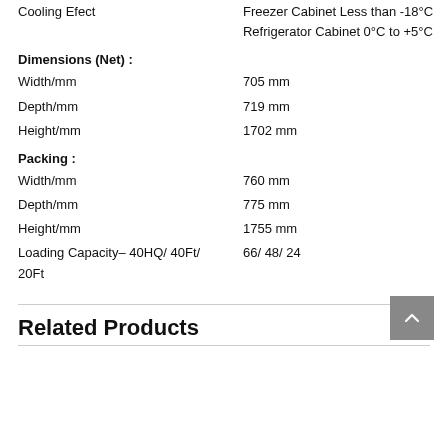Cooling Efect
Freezer Cabinet Less than -18°C
Refrigerator Cabinet 0°C to +5°C
Dimensions (Net) :
Width/mm	705 mm
Depth/mm	719 mm
Height/mm	1702 mm
Packing :
Width/mm	760 mm
Depth/mm	775 mm
Height/mm	1755 mm
Loading Capacity- 40HQ/ 40Ft/ 20Ft	66/ 48/ 24
Related Products